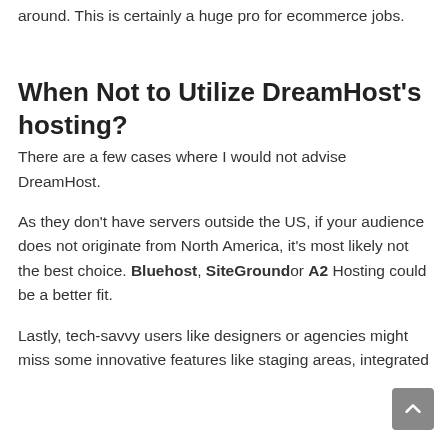around. This is certainly a huge pro for ecommerce jobs.
When Not to Utilize DreamHost's hosting?
There are a few cases where I would not advise DreamHost.
As they don't have servers outside the US, if your audience does not originate from North America, it's most likely not the best choice. Bluehost, SiteGroundor A2 Hosting could be a better fit.
Lastly, tech-savvy users like designers or agencies might miss some innovative features like staging areas, integrated webhosts as pre-installed Site monitoring platforms and